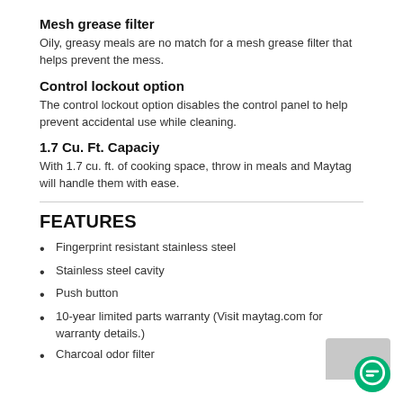Mesh grease filter
Oily, greasy meals are no match for a mesh grease filter that helps prevent the mess.
Control lockout option
The control lockout option disables the control panel to help prevent accidental use while cleaning.
1.7 Cu. Ft. Capaciy
With 1.7 cu. ft. of cooking space, throw in meals and Maytag will handle them with ease.
FEATURES
Fingerprint resistant stainless steel
Stainless steel cavity
Push button
10-year limited parts warranty (Visit maytag.com for warranty details.)
Charcoal odor filter